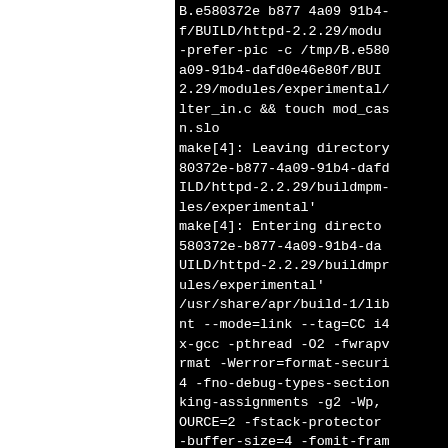B.e580372e b877 4a09 91b4-f/BUILD/httpd-2.2.29/modu-prefer-pic -c /tmp/B.e580a09-91b4-dafd0e46e80f/BUI2.29/modules/experimental/lter_in.c && touch mod_casn.slo
make[4]: Leaving directory80372e-b877-4a09-91b4-dafdILD/httpd-2.2.29/buildmpm-les/experimental'
make[4]: Entering director580372e-b877-4a09-91b4-daUILD/httpd-2.2.29/buildmprules/experimental'
/usr/share/apr/build-1/libnt --mode=link --tag=CC i4x-gcc -pthread -O2 -fwrapvrmat -Werror=format-securi4 -fno-debug-types-sectionking-assignments -g2 -Wp,OURCE=2 -fstack-protector-buffer-size=4 -fomit-framarch=i486 -fasynchronous-